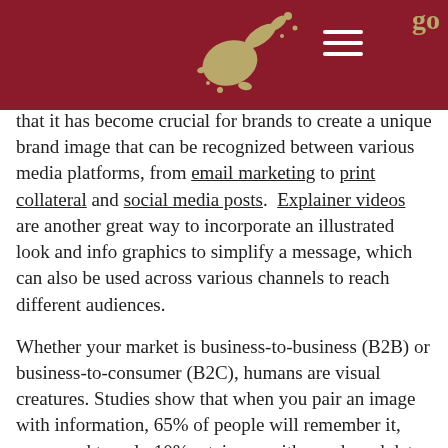[Figure (other): Website header bar in dark red/maroon with a decorative gold splatter/ink blot logo in the center and a hamburger menu icon (three white horizontal lines) on the right side.]
that it has become crucial for brands to create a unique brand image that can be recognized between various media platforms, from email marketing to print collateral and social media posts.  Explainer videos are another great way to incorporate an illustrated look and info graphics to simplify a message, which can also be used across various channels to reach different audiences.
Whether your market is business-to-business (B2B) or business-to-consumer (B2C), humans are visual creatures. Studies show that when you pair an image with information, 65% of people will remember it, compared to only 10% retainage with words and data alone. This is a great instance to integrate custom brand iconography to break up large amounts of text and make your content